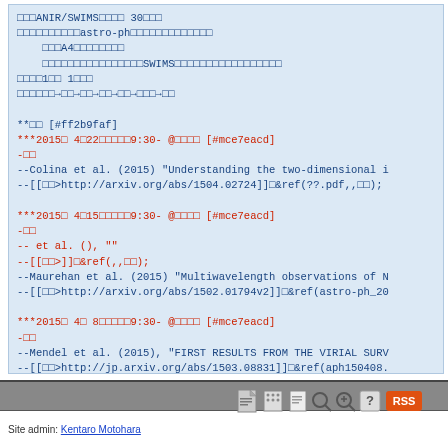ANIR/SWIMS journal club 30th meeting
astro-ph A4 SWIMS 1st 1st flowchart reference entries
** topic [#ff2b9faf]
***2015年4月22日 journal 9:30- @journal [#mce7eacd]
-speaker
--Colina et al. (2015) "Understanding the two-dimensional i
--[[link>http://arxiv.org/abs/1504.02724]] &ref(??.pdf,,link);

***2015年4月15日 journal 9:30- @journal [#mce7eacd]
-speaker
-- et al. (), ""
--[[link>]] &ref(,,link);
--Maurehan et al. (2015) "Multiwavelength observations of N
--[[link>http://arxiv.org/abs/1502.01794v2]] &ref(astro-ph_20

***2015年4月8日 journal 9:30- @journal [#mce7eacd]
-speaker
--Mendel et al. (2015), "FIRST RESULTS FROM THE VIRIAL SURV
--[[link>http://jp.arxiv.org/abs/1503.08831]] &ref(aph150408.
Site admin: Kentaro Motohara